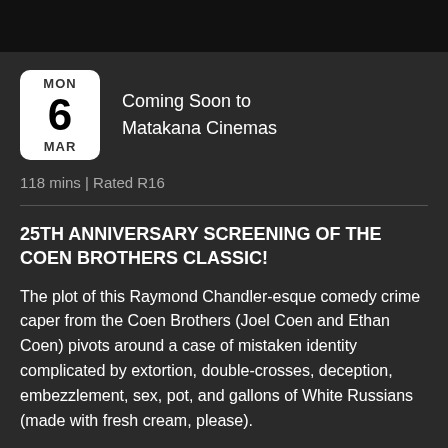[Figure (infographic): Calendar icon showing MON 6 MAR with white rounded rectangle background]
Coming Soon to Matakana Cinemas
118 mins | Rated R16
25TH ANNIVERSARY SCREENING OF THE COEN BROTHERS CLASSIC!
The plot of this Raymond Chandler-esque comedy crime caper from the Coen Brothers (Joel Coen and Ethan Coen) pivots around a case of mistaken identity complicated by extortion, double-crosses, deception, embezzlement, sex, pot, and gallons of White Russians (made with fresh cream, please).